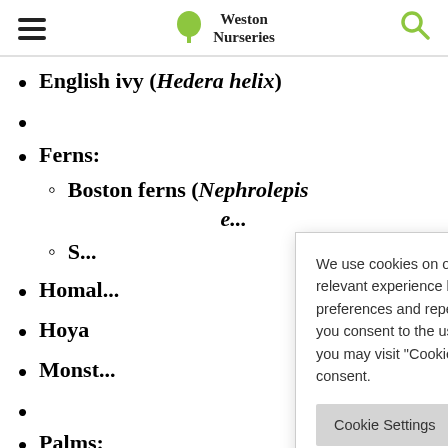Weston Nurseries
English ivy (Hedera helix)
Ferns:
Boston ferns (Nephrolepis e...
S...
Homal...
Hoya
Monst...
Palms:
P...
Ponytail palm (Beaucarnea
We use cookies on our website to give you the most relevant experience by remembering your preferences and repeat visits. By clicking "Accept All", you consent to the use of ALL the cookies. However, you may visit "Cookie Settings" to provide a controlled consent.